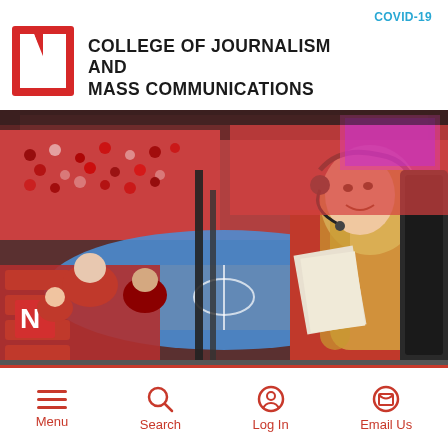COVID-19
COLLEGE OF JOURNALISM AND MASS COMMUNICATIONS
[Figure (photo): A female student wearing a red shirt and headset with microphone sits in the press box at a Nebraska Cornhuskers sports arena, looking out over a packed stadium crowd with red seating. She holds papers and appears to be broadcasting. The arena floor shows a blue and orange court.]
Menu  Search  Log In  Email Us